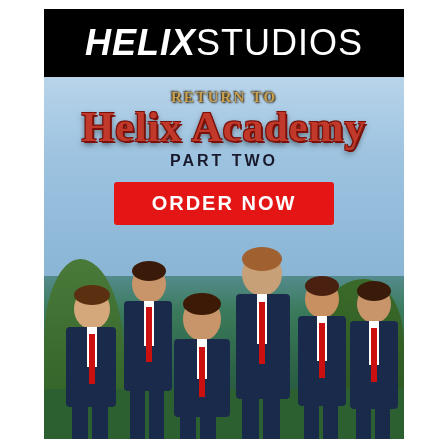[Figure (logo): Helix Studios logo — white text on black background. 'HELIX' in bold italic and 'STUDIOS' in regular weight.]
[Figure (illustration): Promotional movie poster for 'Return to Helix Academy Part Two'. Shows six young men in navy school blazers with red ties standing outdoors on a green lawn with trees and blue sky. Above them is a stylized red and gold fantasy-style title 'Return to Helix Academy' with 'Part Two' below it, and a red 'ORDER NOW' button.]